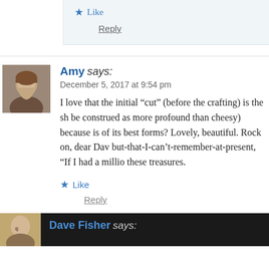Like
Reply
Amy says: December 5, 2017 at 9:54 pm
I love that the initial “cut” (before the crafting) is the sh be construed as more profound than cheesy) because is of its best forms? Lovely, beautiful. Rock on, dear Dav but-that-I-can’t-remember-at-present, “If I had a millio these treasures.
Like
Reply
Dave Fisher says: